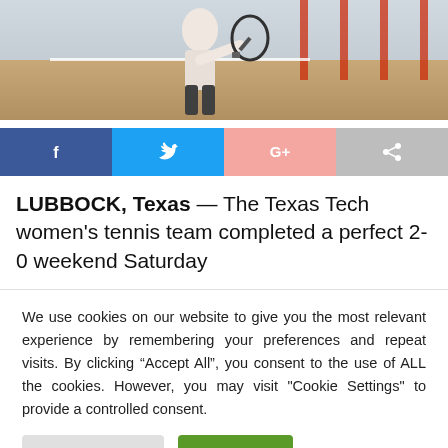[Figure (photo): Tennis player holding a racket on an outdoor court with red fencing in the background]
[Figure (infographic): Social share buttons: Facebook (blue), Twitter (light blue), Google+ (pink), Share (grey)]
LUBBOCK, Texas — The Texas Tech women's tennis team completed a perfect 2-0 weekend Saturday
We use cookies on our website to give you the most relevant experience by remembering your preferences and repeat visits. By clicking “Accept All”, you consent to the use of ALL the cookies. However, you may visit "Cookie Settings" to provide a controlled consent.
Cookie Settings | Accept All